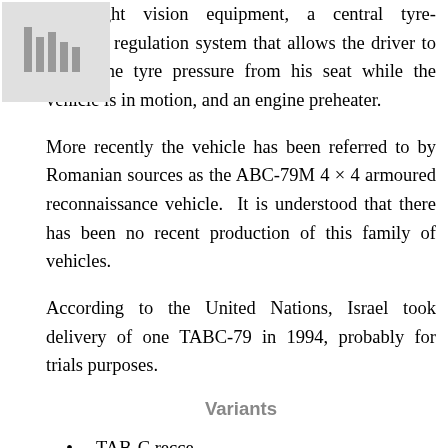red night vision equipment, a central tyre-pressure regulation system that allows the driver to adjust the tyre pressure from his seat while the vehicle is in motion, and an engine preheater.
More recently the vehicle has been referred to by Romanian sources as the ABC-79M 4 × 4 armoured reconnaissance vehicle. It is understood that there has been no recent production of this family of vehicles.
According to the United Nations, Israel took delivery of one TABC-79 in 1994, probably for trials purposes.
Variants
TAB-C recce
AM 425 APC
TAB-79A POMA artillery observation post carrier
TAB-79AR mortar carrier